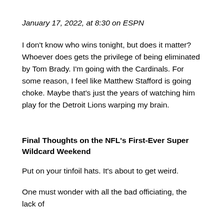January 17, 2022, at 8:30 on ESPN
I don't know who wins tonight, but does it matter? Whoever does gets the privilege of being eliminated by Tom Brady. I'm going with the Cardinals. For some reason, I feel like Matthew Stafford is going choke. Maybe that's just the years of watching him play for the Detroit Lions warping my brain.
Final Thoughts on the NFL's First-Ever Super Wildcard Weekend
Put on your tinfoil hats. It's about to get weird.
One must wonder with all the bad officiating, the lack of